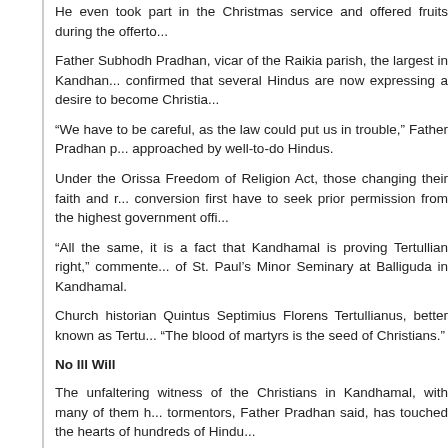He even took part in the Christmas service and offered fruits during the offerto...
Father Subhodh Pradhan, vicar of the Raikia parish, the largest in Kandhan... confirmed that several Hindus are now expressing a desire to become Christia...
“We have to be careful, as the law could put us in trouble,” Father Pradhan p... approached by well-to-do Hindus.
Under the Orissa Freedom of Religion Act, those changing their faith and r... conversion first have to seek prior permission from the highest government offi...
“All the same, it is a fact that Kandhamal is proving Tertullian right,” commente... of St. Paul’s Minor Seminary at Balliguda in Kandhamal.
Church historian Quintus Septimius Florens Tertullianus, better known as Tertu... “The blood of martyrs is the seed of Christians.”
No Ill Will
The unfaltering witness of the Christians in Kandhamal, with many of them h... tormentors, Father Pradhan said, has touched the hearts of hundreds of Hindu...
“God’s plans are beyond our comprehension. What happened here [in Kan... Archbishop John Barwa of Cuttack Bhubaneswar, the diocese that contains Ka... pastoral visit. “But it was not a curse. It is now turning out to be a blessing.”
– anto akkara